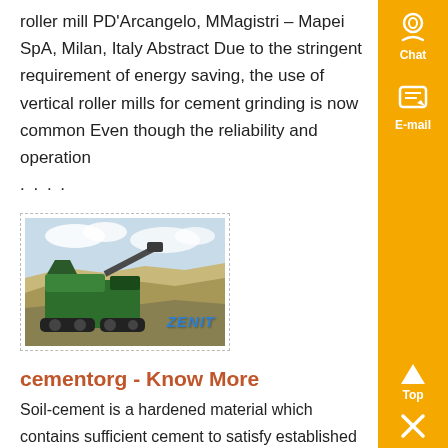roller mill PD'Arcangelo, MMagistri – Mapei SpA, Milan, Italy Abstract Due to the stringent requirement of energy saving, the use of vertical roller mills for cement grinding is now common Even though the reliability and operation
....
[Figure (photo): Photo of a large green mining/crushing machine (branded ZENIT) operating in a quarry with limestone/rock terrain and blue sky background]
cementorg - Know More
Soil-cement is a hardened material which contains sufficient cement to satisfy established weight-loss criteria based on standard freeze-thaw and wet-dry tests" Other terms such as cement-treated base, cement-stabilized soil, and cement-stabilized aggre- gate base